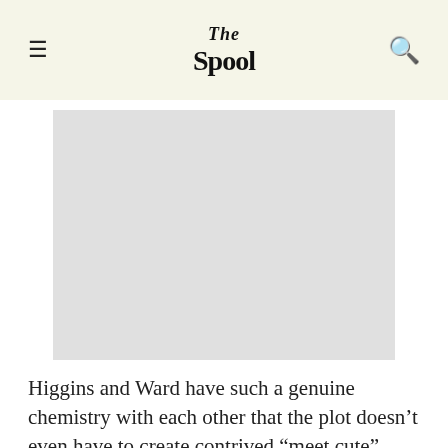The Spool
[Figure (other): Advertisement placeholder — light gray rectangle]
Higgins and Ward have such a genuine chemistry with each other that the plot doesn’t even have to create contrived “meet cute” situations to push them together. Nor, refreshingly, is there a makeover scene, a drawn out “will they/won’t they” trope, a “darkest hour before the dawn” moment, or a wise-beyond-their-years child convincing them that they belong together. They meet,